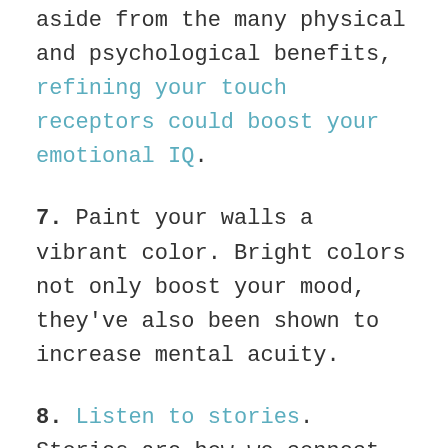aside from the many physical and psychological benefits, refining your touch receptors could boost your emotional IQ.
7. Paint your walls a vibrant color. Bright colors not only boost your mood, they've also been shown to increase mental acuity.
8. Listen to stories. Stories are how we connect as people. They make us laugh, they evoke tears and they teach us powerful lessons. Stories put the spark back in your eye.
9. ...